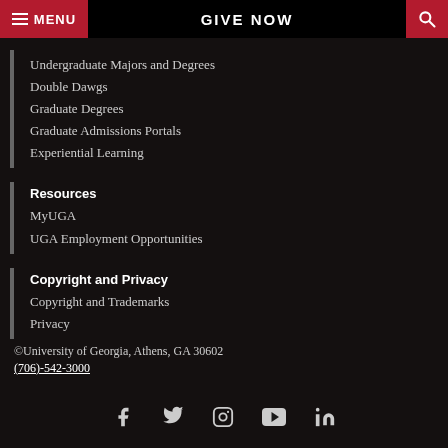MENU | GIVE NOW | Search
Undergraduate Majors and Degrees
Double Dawgs
Graduate Degrees
Graduate Admissions Portals
Experiential Learning
Resources
MyUGA
UGA Employment Opportunities
Copyright and Privacy
Copyright and Trademarks
Privacy
©University of Georgia, Athens, GA 30602
(706)-542-3000